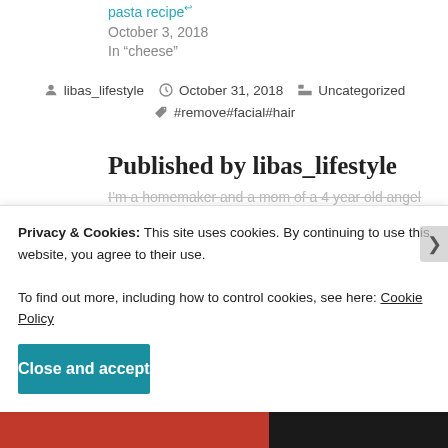pasta recipe
October 3, 2018
In "cheese"
libas_lifestyle  October 31, 2018  Uncategorized  #remove#facial#hair
Published by libas_lifestyle
I'm a homemaker and a mom of a 4 year old angel
Privacy & Cookies: This site uses cookies. By continuing to use this website, you agree to their use.
To find out more, including how to control cookies, see here: Cookie Policy
Close and accept